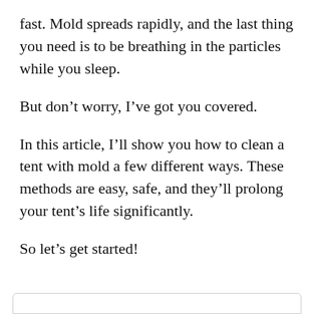fast. Mold spreads rapidly, and the last thing you need is to be breathing in the particles while you sleep.
But don’t worry, I’ve got you covered.
In this article, I’ll show you how to clean a tent with mold a few different ways. These methods are easy, safe, and they’ll prolong your tent’s life significantly.
So let’s get started!